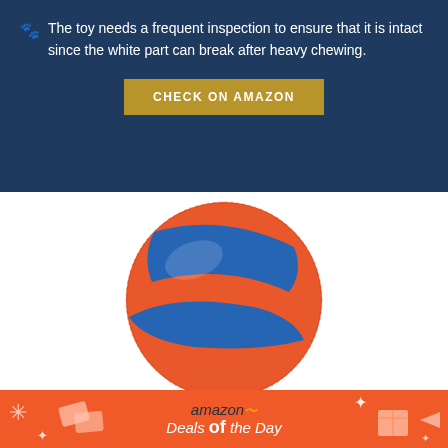🐾 The toy needs a frequent inspection to ensure that it is intact since the white part can break after heavy chewing.
CHECK ON AMAZON
[Figure (photo): Orange and blue rubber dog ball (Chuckit brand style) on white background]
[Figure (infographic): Amazon Deals of the Day orange banner with snowflake and gift box decorative icons]